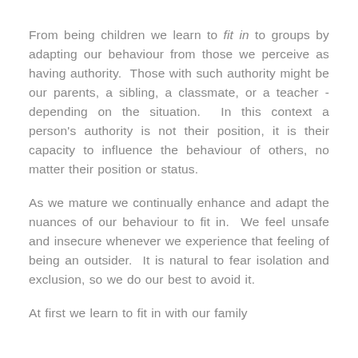From being children we learn to fit in to groups by adapting our behaviour from those we perceive as having authority. Those with such authority might be our parents, a sibling, a classmate, or a teacher - depending on the situation. In this context a person's authority is not their position, it is their capacity to influence the behaviour of others, no matter their position or status.
As we mature we continually enhance and adapt the nuances of our behaviour to fit in. We feel unsafe and insecure whenever we experience that feeling of being an outsider. It is natural to fear isolation and exclusion, so we do our best to avoid it.
At first we learn to fit in with our family